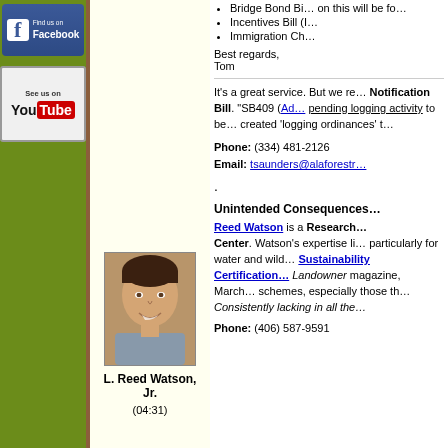[Figure (logo): Find us on Facebook badge - blue background with white F icon and text]
[Figure (logo): See us on YouTube badge - white background with YouTube logo]
Bridge Bond Bill... on this will be fo...
Incentives Bill (I...
Immigration Ch...
Best regards,
Tom
It's a great service. But we re... Notification Bill. "SB409 (Ad... pending logging activity to be... created 'logging ordinances' t...
Phone: (334) 481-2126
Email: tsaunders@alaforestr...
.
[Figure (photo): Headshot photo of L. Reed Watson Jr., a young man smiling]
L. Reed Watson, Jr.
(04:31)
Unintended Consequences
Reed Watson is a Research... Center. Watson's expertise li... particularly for water and wild... Sustainability Certification... Landowner magazine, March... schemes, especially those th... Consistently lacking in all the...
Phone: (406) 587-9591